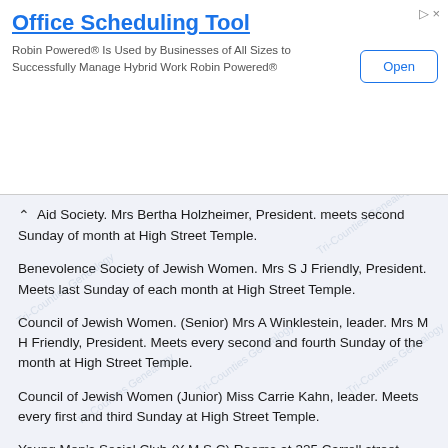[Figure (screenshot): Advertisement banner for Office Scheduling Tool by Robin Powered with Open button]
Aid Society. Mrs Bertha Holzheimer, President. meets second Sunday of month at High Street Temple.
Benevolence Society of Jewish Women. Mrs S J Friendly, President. Meets last Sunday of each month at High Street Temple.
Council of Jewish Women. (Senior) Mrs A Winklestein, leader. Mrs M H Friendly, President. Meets every second and fourth Sunday of the month at High Street Temple.
Council of Jewish Women (Junior) Miss Carrie Kahn, leader. Meets every first and third Sunday at High Street Temple.
Young Men's Social Club (Y M S C) Rooms at 325 Carroll street. Leon Markson, President.
IMPROVED ORDER OF RED MEN
Massasoit Tribe, No 14. Meets every Tuesday night in each month at 112-114 Lake street. Harry Shaw, Secretary.